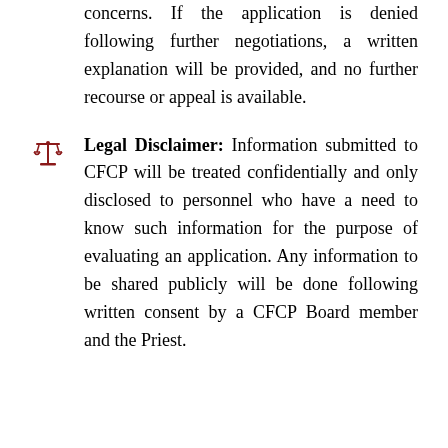concerns. If the application is denied following further negotiations, a written explanation will be provided, and no further recourse or appeal is available.
Legal Disclaimer: Information submitted to CFCP will be treated confidentially and only disclosed to personnel who have a need to know such information for the purpose of evaluating an application. Any information to be shared publicly will be done following written consent by a CFCP Board member and the Priest.